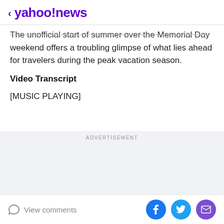< yahoo!news
The unofficial start of summer over the Memorial Day weekend offers a troubling glimpse of what lies ahead for travelers during the peak vacation season.
Video Transcript
[MUSIC PLAYING]
ADVERTISEMENT
Advertisement
View comments